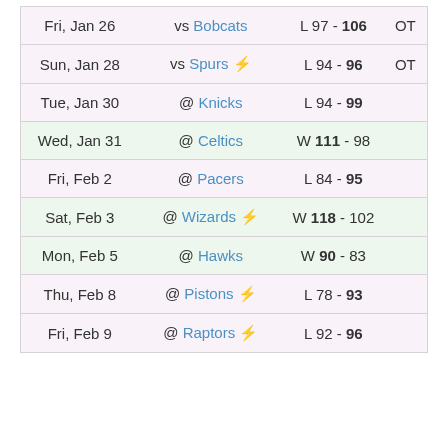| Date | Opponent | Score |  |
| --- | --- | --- | --- |
| Fri, Jan 26 | vs Bobcats | L 97 - 106 | OT |
| Sun, Jan 28 | vs Spurs ⚡ | L 94 - 96 | OT |
| Tue, Jan 30 | @ Knicks | L 94 - 99 |  |
| Wed, Jan 31 | @ Celtics | W 111 - 98 |  |
| Fri, Feb 2 | @ Pacers | L 84 - 95 |  |
| Sat, Feb 3 | @ Wizards ⚡ | W 118 - 102 |  |
| Mon, Feb 5 | @ Hawks | W 90 - 83 |  |
| Thu, Feb 8 | @ Pistons ⚡ | L 78 - 93 |  |
| Fri, Feb 9 | @ Raptors ⚡ | L 92 - 96 |  |